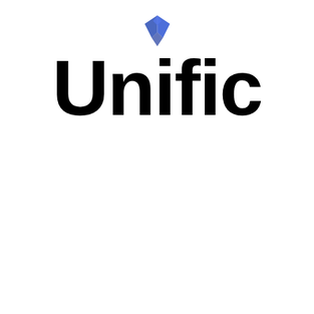[Figure (logo): Unific company logo: a blue shield/diamond icon above the bold text 'Unific']